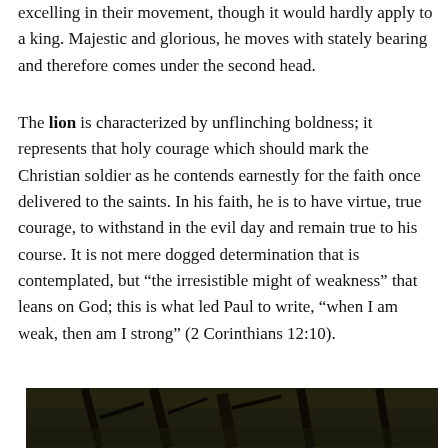excelling in their movement, though it would hardly apply to a king. Majestic and glorious, he moves with stately bearing and therefore comes under the second head.
The lion is characterized by unflinching boldness; it represents that holy courage which should mark the Christian soldier as he contends earnestly for the faith once delivered to the saints. In his faith, he is to have virtue, true courage, to withstand in the evil day and remain true to his course. It is not mere dogged determination that is contemplated, but “the irresistible might of weakness” that leans on God; this is what led Paul to write, “when I am weak, then am I strong” (2 Corinthians 12:10).
[Figure (photo): A dark photograph showing tree trunks and branches against a dark background, partially visible at the bottom of the page.]